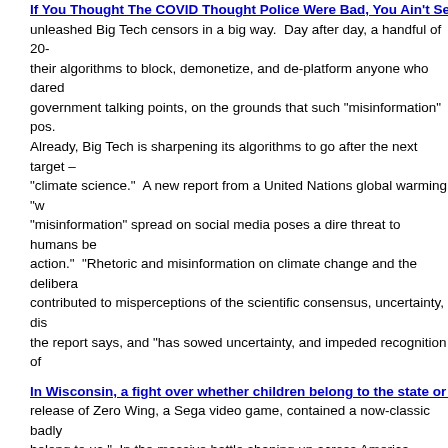If You Thought The COVID Thought Police Were Bad, You Ain't Seen...
unleashed Big Tech censors in a big way. Day after day, a handful of 20- their algorithms to block, demonetize, and de-platform anyone who dared government talking points, on the grounds that such "misinformation" pos. Already, Big Tech is sharpening its algorithms to go after the next target – "climate science." A new report from a United Nations global warming "w "misinformation" spread on social media poses a dire threat to humans be action." "Rhetoric and misinformation on climate change and the delibera contributed to misperceptions of the scientific consensus, uncertainty, dis the report says, and "has sowed uncertainty, and impeded recognition of
In Wisconsin, a fight over whether children belong to the state or the...
release of Zero Wing, a Sega video game, contained a now-classic badly belong to us." In the massive battle shaping up across America, public s a banner saying "All your children are belong to us" in their battle agains mention racial issues). What's happening in Eau Claire, Wisconsin, exem in a sentence from a staff training session: "[P]arents are not entitled to k knowledge must be earned." That arrogant message came from a "profe that was used in the school district at a staff development session: [...]
Researchers Working On Algorithm To Diagnose You With Mental Ill...
Researchers at liberal Dartmouth College have created an artificial intellig illnesses based on Reddit discussions, the college announced. Critics of on the path to introducing a social credit score, like China, in which citizen model will pave the way for citizens and internet users to be imprisoned in with mainstream media narratives.
Google, Apple cut off access to ordinary Russians, meaning they ca... time
In another ominous sign that the big tech behemoths have way too ordinary people, Apple and Google have now cut off Russians from their p causing mayhem in their country. As noted by Irish journalist Jason Corc